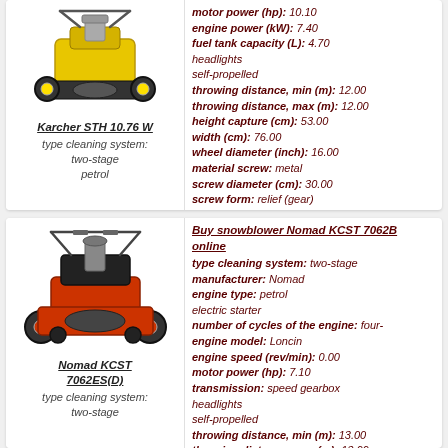[Figure (photo): Yellow Karcher STH 10.76 W snowblower product image]
Karcher STH 10.76 W
type cleaning system: two-stage
petrol
motor power (hp): 10.10
engine power (kW): 7.40
fuel tank capacity (L): 4.70
headlights
self-propelled
throwing distance, min (m): 12.00
throwing distance, max (m): 12.00
height capture (cm): 53.00
width (cm): 76.00
wheel diameter (inch): 16.00
material screw: metal
screw diameter (cm): 30.00
screw form: relief (gear)
more information
[Figure (photo): Orange and black Nomad KCST 7062ES(D) snowblower product image]
Nomad KCST 7062ES(D)
type cleaning system: two-stage
Buy snowblower Nomad KCST 7062B online
type cleaning system: two-stage
manufacturer: Nomad
engine type: petrol
electric starter
number of cycles of the engine: four-
engine model: Loncin
engine speed (rev/min): 0.00
motor power (hp): 7.10
transmission: speed gearbox
headlights
self-propelled
throwing distance, min (m): 13.00
throwing distance, max (m): 13.00
height capture (cm): 52.00